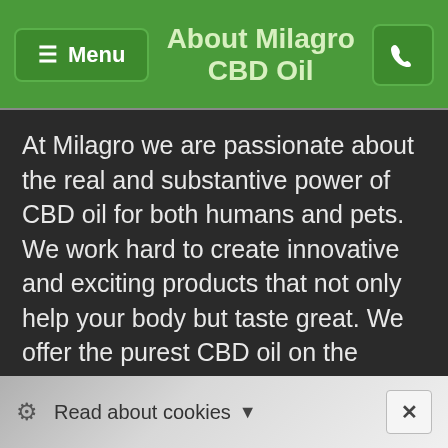About Milagro CBD Oil
At Milagro we are passionate about the real and substantive power of CBD oil for both humans and pets. We work hard to create innovative and exciting products that not only help your body but taste great. We offer the purest CBD oil on the market and have created a range of products so that everyone can enjoy the benefits of CBD oil. If you are looking for CBD oil in Surrey, and have any questions or would like further information, get in touch with us, as we are here to help! Alternatively, please visit our products page to find out more about all of our
Read about cookies  ✕